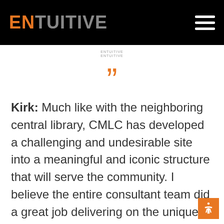ENTUITIVE
ENTUITIVE
[Figure (illustration): Large orange closing double quotation mark symbol]
Kirk: Much like with the neighboring central library, CMLC has developed a challenging and undesirable site into a meaningful and iconic structure that will serve the community. I believe the entire consultant team did a great job delivering on the unique demands of this project. I have to say, this is the